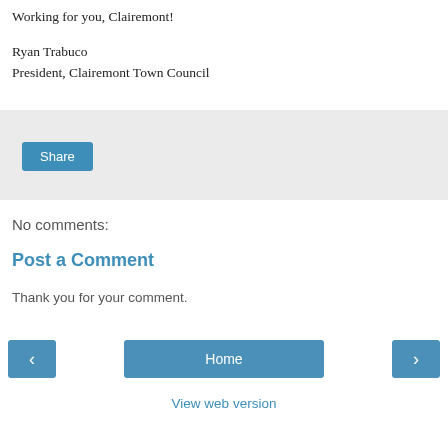Working for you, Clairemont!
Ryan Trabuco
President, Clairemont Town Council
[Figure (other): Share button on a light gray background]
No comments:
Post a Comment
Thank you for your comment.
[Figure (other): Navigation bar with left arrow, Home button, and right arrow]
View web version